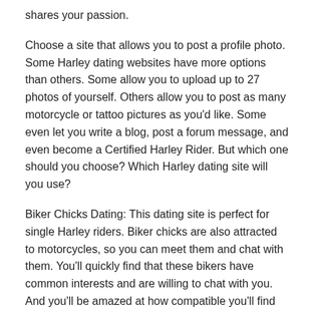shares your passion.
Choose a site that allows you to post a profile photo. Some Harley dating websites have more options than others. Some allow you to upload up to 27 photos of yourself. Others allow you to post as many motorcycle or tattoo pictures as you'd like. Some even let you write a blog, post a forum message, and even become a Certified Harley Rider. But which one should you choose? Which Harley dating site will you use?
Biker Chicks Dating: This dating site is perfect for single Harley riders. Biker chicks are also attracted to motorcycles, so you can meet them and chat with them. You'll quickly find that these bikers have common interests and are willing to chat with you. And you'll be amazed at how compatible you'll find Harley lovers on these sites! So start looking for your match today!
Complete your profile. The best dating sites cater to specific interest groups, and you'll find single Harley riders that share your passion. If you don't fill out your profile and get too many matches, you'll end up with few responses. That's why it's important to be as accurate as possible. And don't forget to include as many biker-related options as possible. If you're looking for single Harley riders, a dating site that option will be...